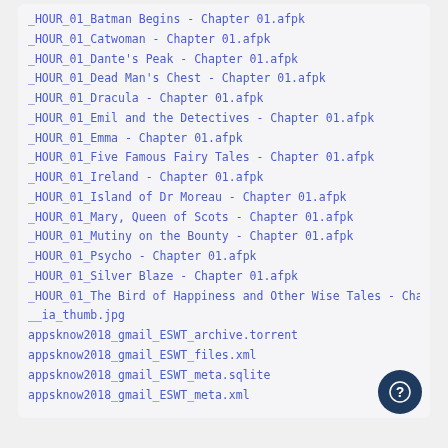_HOUR_01_Batman Begins - Chapter 01.afpk
_HOUR_01_Catwoman - Chapter 01.afpk
_HOUR_01_Dante's Peak - Chapter 01.afpk
_HOUR_01_Dead Man's Chest - Chapter 01.afpk
_HOUR_01_Dracula - Chapter 01.afpk
_HOUR_01_Emil and the Detectives - Chapter 01.afpk
_HOUR_01_Emma - Chapter 01.afpk
_HOUR_01_Five Famous Fairy Tales - Chapter 01.afpk
_HOUR_01_Ireland - Chapter 01.afpk
_HOUR_01_Island of Dr Moreau - Chapter 01.afpk
_HOUR_01_Mary, Queen of Scots - Chapter 01.afpk
_HOUR_01_Mutiny on the Bounty - Chapter 01.afpk
_HOUR_01_Psycho - Chapter 01.afpk
_HOUR_01_Silver Blaze - Chapter 01.afpk
_HOUR_01_The Bird of Happiness and Other Wise Tales - Chapte
__ia_thumb.jpg
appsknow2018_gmail_ESWT_archive.torrent
appsknow2018_gmail_ESWT_files.xml
appsknow2018_gmail_ESWT_meta.sqlite
appsknow2018_gmail_ESWT_meta.xml